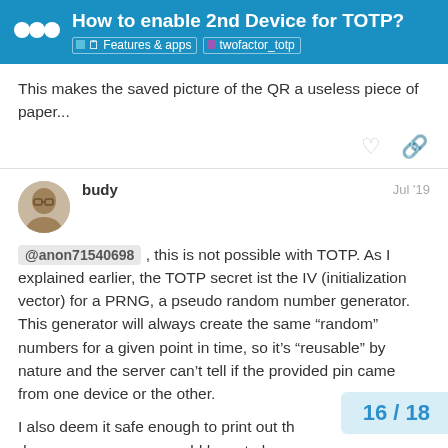How to enable 2nd Device for TOTP? | Features & apps | twofactor_totp
This makes the saved picture of the QR a useless piece of paper...
budy  Jul '19
@anon71540698 , this is not possible with TOTP. As I explained earlier, the TOTP secret ist the IV (initialization vector) for a PRNG, a pseudo random number generator. This generator will always create the same “random” numbers for a given point in time, so it’s “reusable” by nature and the server can’t tell if the provided pin came from one device or the other.
I also deem it safe enough to print out the QR and put it in a drawer, as someone would have to b... house/office on purpose, to get that pa...
16 / 18